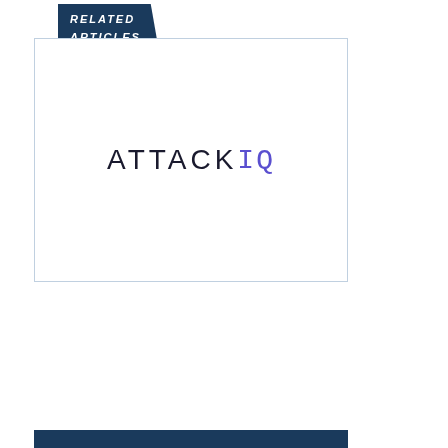RELATED ARTICLES
[Figure (logo): AttackIQ company logo inside a white card with light blue border. Text reads ATTACK in dark navy thin letters followed by IQ in purple monospace letters.]
We use cookies to offer you a better browsing experience, analyze site traffic, personalize content, and serve targeted advertisements. Read about how we use cookies and how you can control them on our Privacy Policy. If you continue to use this site, you consent to our use of cookies.